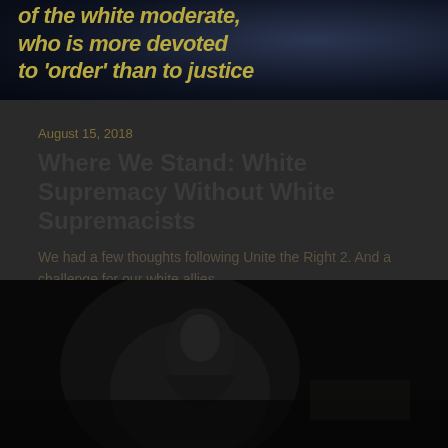[Figure (photo): Dark image with bold italic yellow/gold text overlay reading 'of the white moderate, who is more devoted to order than to justice' against a dark blue background]
August 15, 2018
Where We Stand: White Supremacy Without White Supremacists
We had a few thoughts following Unite the Right 2. And a challenge for our white allies…
[Figure (photo): Dark black and white photo of a person speaking or gesturing, very low light]